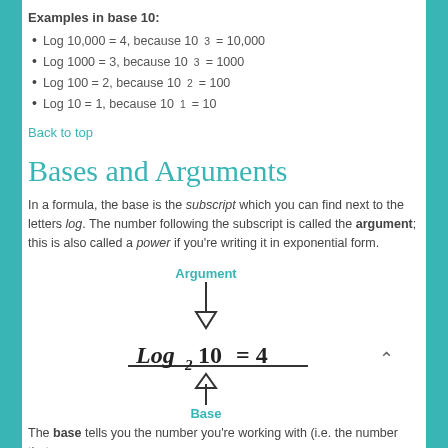Examples in base 10:
Log 10,000 = 4, because 10³ = 10,000
Log 1000 = 3, because 10³ = 1000
Log 100 = 2, because 10² = 100
Log 10 = 1, because 10¹ = 10
Back to top
Bases and Arguments
In a formula, the base is the subscript which you can find next to the letters log. The number following the subscript is called the argument; this is also called a power if you're writing it in exponential form.
[Figure (illustration): Diagram showing Log base 2 of 10 = 4 with arrows pointing to 'Argument' (arrow pointing down to 10) and 'Base' (arrow pointing up to the subscript 2)]
The base tells you the number you're working with (i.e. the number that